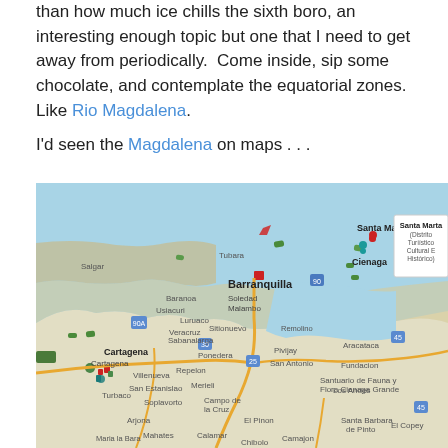than how much ice chills the sixth boro, an interesting enough topic but one that I need to get away from periodically.  Come inside, sip some chocolate, and contemplate the equatorial zones.  Like Rio Magdalena.
I'd seen the Magdalena on maps . . .
[Figure (map): Google Maps screenshot showing the Caribbean coast of Colombia, featuring cities including Barranquilla, Cartagena, Santa Marta, Cienaga, and surrounding regions. The map shows roads, water bodies, and various location pins (green, red, and teal colored markers).]